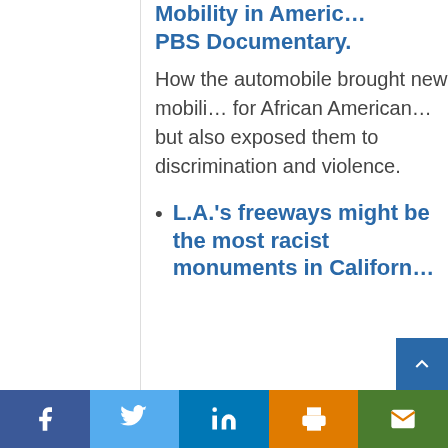Mobility in America PBS Documentary.
How the automobile brought new mobility for African Americans but also exposed them to discrimination and violence.
L.A.'s freeways might be the most racist monuments in California
Facebook | Twitter | LinkedIn | Print | Email